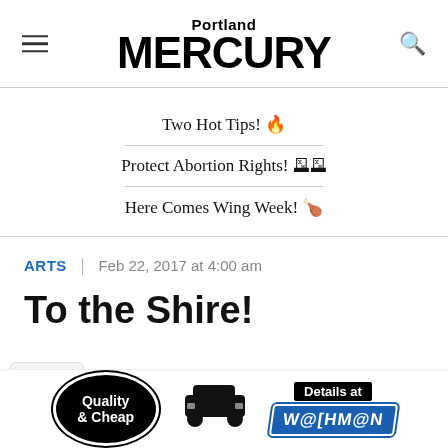Portland MERCURY
Two Hot Tips! 🔥
Protect Abortion Rights! 🗳🗳
Here Comes Wing Week! 🍗
ARTS | Feb 22, 2017 at 4:00 am
To the Shire!
[Figure (logo): Advertisement banner: Quality & Cheap, car icon, Details at Washman logo]